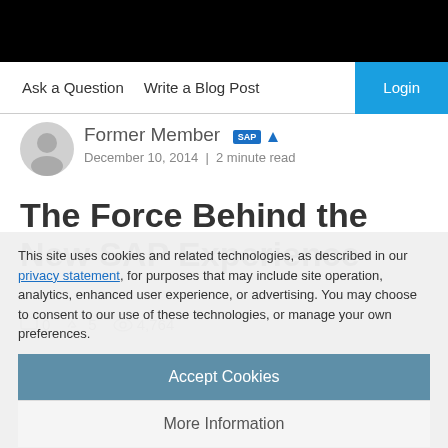Ask a Question   Write a Blog Post   Login
Former Member  December 10, 2014  |  2 minute read
The Force Behind the New SAP Experience
0  5  4,764
This site uses cookies and related technologies, as described in our privacy statement, for purposes that may include site operation, analytics, enhanced user experience, or advertising. You may choose to consent to our use of these technologies, or manage your own preferences.
Accept Cookies
More Information
Privacy Policy | Powered by: TrustArc
Since the beginning of our enterprise software industry, features and functions have been the primary focus. Vendors have been